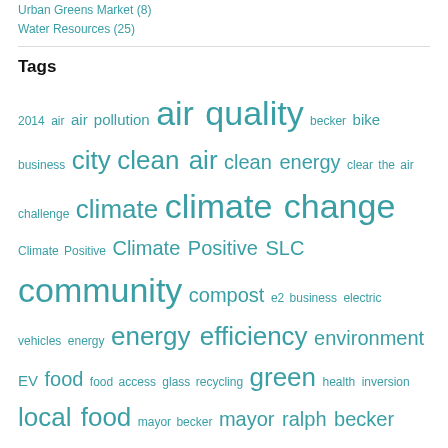Urban Greens Market (8)
Water Resources (25)
Tags
2014 air air pollution air quality becker bike business city clean air clean energy clear the air challenge climate climate change Climate Positive Climate Positive SLC community compost e2 business electric vehicles energy energy efficiency environment EV food food access glass recycling green health inversion local food mayor becker mayor ralph becker pollution recycle recycling Reduce Reuse Recycle renewable energy rocky mountain power salt lake salt lake city slc slcgreen solar sustainability sustainable sustainable